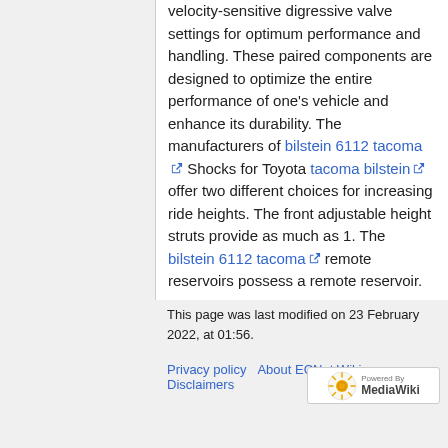velocity-sensitive digressive valve settings for optimum performance and handling. These paired components are designed to optimize the entire performance of one's vehicle and enhance its durability. The manufacturers of bilstein 6112 tacoma Shocks for Toyota tacoma bilstein offer two different choices for increasing ride heights. The front adjustable height struts provide as much as 1. The bilstein 6112 tacoma remote reservoirs possess a remote reservoir.
This page was last modified on 23 February 2022, at 01:56.
Privacy policy   About ECNet Wiki   Disclaimers